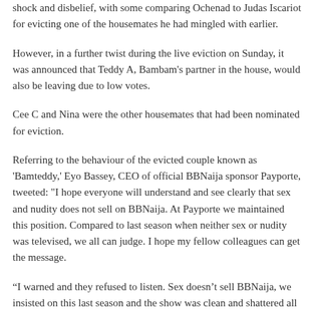shock and disbelief, with some comparing Ochenad to Judas Iscariot for evicting one of the housemates he had mingled with earlier.
However, in a further twist during the live eviction on Sunday, it was announced that Teddy A, Bambam's partner in the house, would also be leaving due to low votes.
Cee C and Nina were the other housemates that had been nominated for eviction.
Referring to the behaviour of the evicted couple known as 'Bamteddy,' Eyo Bassey, CEO of official BBNaija sponsor Payporte, tweeted: "I hope everyone will understand and see clearly that sex and nudity does not sell on BBNaija. At Payporte we maintained this position. Compared to last season when neither sex or nudity was televised, we all can judge. I hope my fellow colleagues can get the message.
“I warned and they refused to listen. Sex doesn’t sell BBNaija, we insisted on this last season and the show was clean and shattered all records. This weekend eviction is another pointer.”